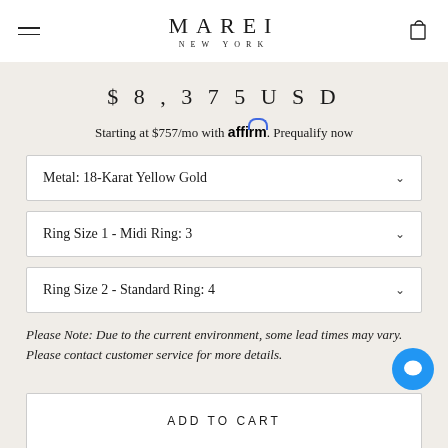MAREI NEW YORK
$8,375 USD
Starting at $757/mo with affirm. Prequalify now
Metal: 18-Karat Yellow Gold
Ring Size 1 - Midi Ring: 3
Ring Size 2 - Standard Ring: 4
Please Note: Due to the current environment, some lead times may vary. Please contact customer service for more details.
ADD TO CART